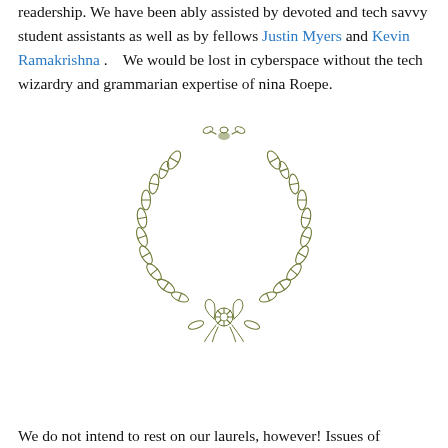readership. We have been ably assisted by devoted and tech savvy student assistants as well as by fellows Justin Myers and Kevin Ramakrishna .   We would be lost in cyberspace without the tech wizardry and grammarian expertise of nina Roepe.
[Figure (illustration): A decorative laurel wreath illustration in olive/sage green line art, with a floral bow at the bottom center.]
We do not intend to rest on our laurels, however! Issues of